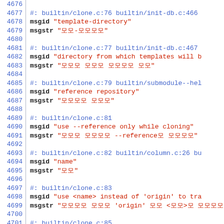Code listing lines 4676-4705, localization/PO file content with line numbers, msgid and msgstr entries for git clone options
4676: (blank)
4677: #: builtin/clone.c:76 builtin/init-db.c:466
4678: msgid "template-directory"
4679: msgstr "모든-디렉터리"
4680: (blank)
4681: #: builtin/clone.c:77 builtin/init-db.c:467
4682: msgid "directory from which templates will b
4683: msgstr "모든 모든 모들모들 모모"
4684: (blank)
4685: #: builtin/clone.c:79 builtin/submodule--hel
4686: msgid "reference repository"
4687: msgstr "모모모모 모모모"
4688: (blank)
4689: #: builtin/clone.c:81
4690: msgid "use --reference only while cloning"
4691: msgstr "모모모 모모모모 --reference모 모모모모모"
4692: (blank)
4693: #: builtin/clone.c:82 builtin/column.c:26 bu
4694: msgid "name"
4695: msgstr "모모"
4696: (blank)
4697: #: builtin/clone.c:83
4698: msgid "use <name> instead of 'origin' to tra
4699: msgstr "모모모모 모모모 'origin' 모모 <모모>모 모모모모모"
4700: (blank)
4701: #: builtin/clone.c:85
4702: msgid "checkout <branch> instead of the remo
4703: msgstr "모모모모 HEAD 모모 <모모모>모 모모모모모"
4704: (blank)
4705: #: builtin/clone.c:87